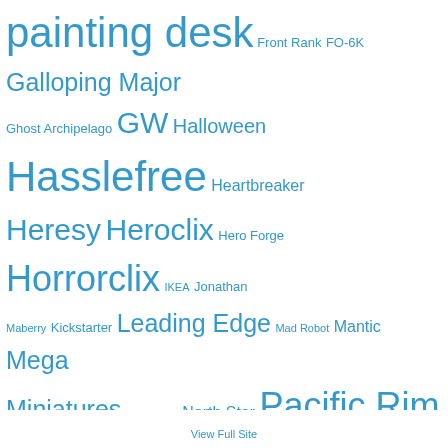painting desk Front Rank FO-6K Galloping Major Ghost Archipelago GW Halloween Hasslefree Heartbreaker Heresy Heroclix Hero Forge Horrorclix IKEA Jonathan Maberry Kickstarter Leading Edge Mad Robot Mantic Mega Miniatures Mira Grant North Star Pacific Rim Pig Iron Pirate book Pirate hunters Pirate ship Pirate town Predastore Predators Prince August R.G. Bullet Reaper Recreational Conflict Redoubt Renedra Salute Scotia Grendel Sgt. Major Slug Industries Space Hulk Terminators The Walking Dead TTCombat Utopia Warbases Warmachine Wayne Simmons West Wind Woodbine Zombies Run!
View Full Site